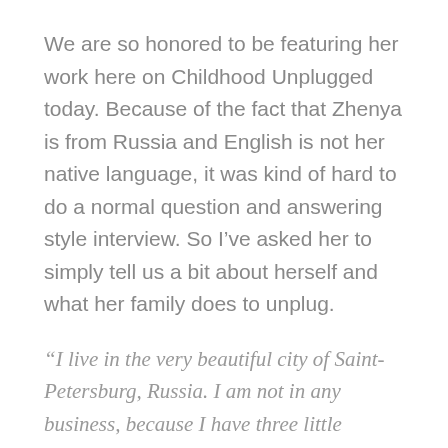We are so honored to be featuring her work here on Childhood Unplugged today. Because of the fact that Zhenya is from Russia and English is not her native language, it was kind of hard to do a normal question and answering style interview. So I've asked her to simply tell us a bit about herself and what her family does to unplug.
“I live in the very beautiful city of Saint-Petersburg, Russia. I am not in any business, because I have three little children, three beautiful girls. They are 6,